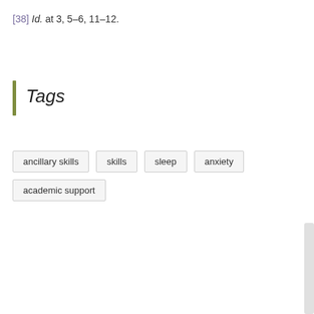[38] Id. at 3, 5–6, 11–12.
Tags
ancillary skills
skills
sleep
anxiety
academic support